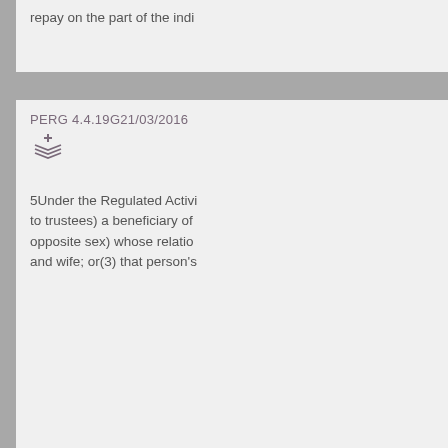repay on the part of the indi…
PERG 4.4.19G21/03/2016
5Under the Regulated Activi… to trustees) a beneficiary of … opposite sex) whose relatio… and wife; or(3) that person's…
PERG 4.4.22G21/03/2016
5The Regulated Activities O…
PERG 4.4.25G21/03/2016